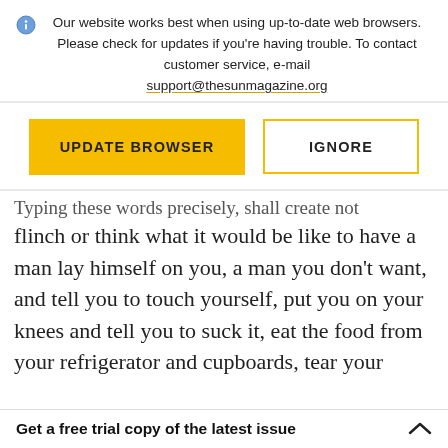Our website works best when using up-to-date web browsers. Please check for updates if you're having trouble. To contact customer service, e-mail support@thesunmagazine.org
[Figure (other): Two buttons: 'UPDATE BROWSER' (yellow/gold filled) and 'IGNORE' (outlined in yellow/gold)]
Typing these words precisely, shall create not flinch or think what it would be like to have a man lay himself on you, a man you don't want, and tell you to touch yourself, put you on your knees and tell you to suck it, eat the food from your refrigerator and cupboards, tear your
Get a free trial copy of the latest issue